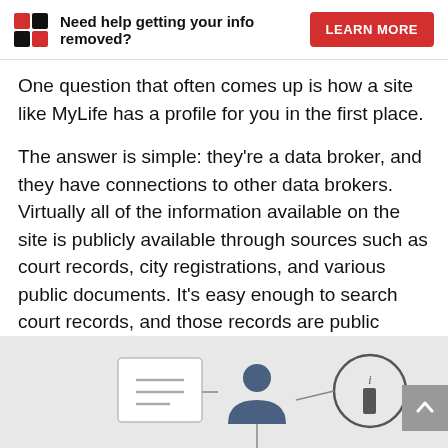Need help getting your info removed? LEARN MORE
One question that often comes up is how a site like MyLife has a profile for you in the first place.
The answer is simple: they're a data broker, and they have connections to other data brokers. Virtually all of the information available on the site is publicly available through sources such as court records, city registrations, and various public documents. It's easy enough to search court records, and those records are public unless a judge orders them sealed, so sites like this are free to use that information.
[Figure (infographic): Infographic showing data broker connections with icons: a document icon, a person/profile icon, and an information (i) icon connected by lines on a light gray background.]